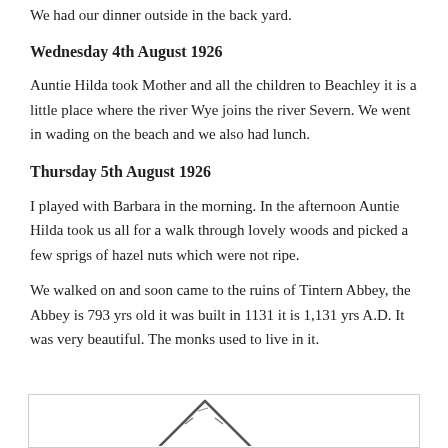We had our dinner outside in the back yard.
Wednesday 4th August 1926
Auntie Hilda took Mother and all the children to Beachley it is a little place where the river Wye joins the river Severn. We went in wading on the beach and we also had lunch.
Thursday 5th August 1926
I played with Barbara in the morning. In the afternoon Auntie Hilda took us all for a walk through lovely woods and picked a few sprigs of hazel nuts which were not ripe.
We walked on and soon came to the ruins of Tintern Abbey, the Abbey is 793 yrs old it was built in 1131 it is 1,131 yrs A.D. It was very beautiful. The monks used to live in it.
[Figure (illustration): A hand-drawn or sketched illustration, partially visible at the bottom of the page, showing what appears to be a triangular/arch shape, possibly depicting Tintern Abbey ruins.]